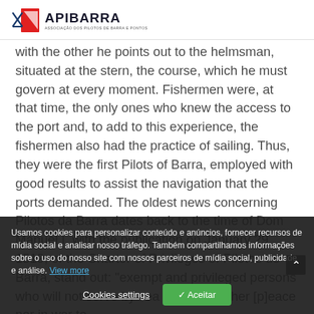APIBARRA — ASSOCIAÇÃO DOS PILOTOS DE BARRA E PONTOS
with the other he points out to the helmsman, situated at the stern, the course, which he must govern at every moment. Fishermen were, at that time, the only ones who knew the access to the port and, to add to this experience, the fishermen also had the practice of sailing. Thus, they were the first Pilots of Barra, employed with good results to assist the navigation that the ports demanded. The oldest news concerning Pilotos da Barra dates back to the time of Dom Manuel I, with the publication on January 29, 1519, of the Charter of Privileges of Pilotos de Barra, stand out: 'exempt and privileged persons who will not serve by sea or land, neither [peace] nor in war to
Usamos cookies para personalizar conteúdo e anúncios, fornecer recursos de mídia social e analisar nosso tráfego. Também compartilhamos informações sobre o uso do nosso site com nossos parceiros de mídia social, publicidade e análise. View more
Cookies settings    ✓ Aceitar